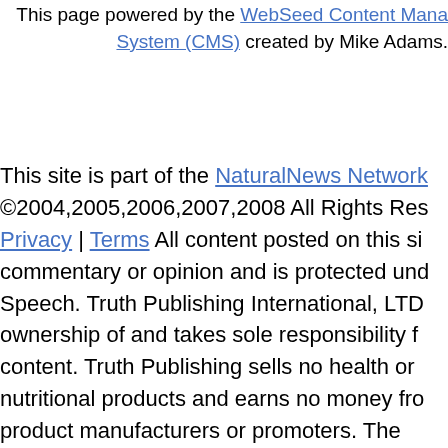This page powered by the WebSeed Content Management System (CMS) created by Mike Adams.
This site is part of the NaturalNews Network ©2004,2005,2006,2007,2008 All Rights Reserved. Privacy | Terms All content posted on this site is commentary or opinion and is protected under Free Speech. Truth Publishing International, LTD takes sole ownership of and takes sole responsibility for all content. Truth Publishing sells no health or nutritional products and earns no money from product manufacturers or promoters. The information on this site is provided for educational and entertainment purposes only. It is not intended as a substitute for professional advice of any kind. Truth Publishing assumes no responsibility for the use or misuse of this material. Your use of this website indicates your agreement to these terms and those published here. All trademarks, registered trademarks and servicemarks mentioned o